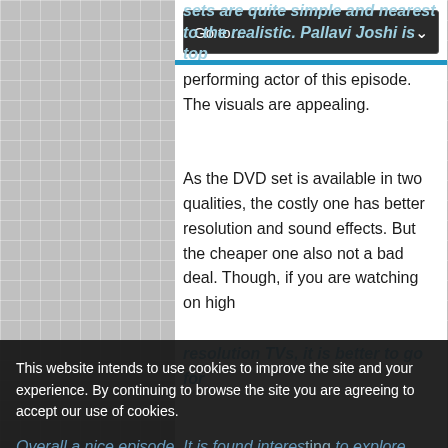sets are quite simple and nearest to the realistic. Pallavi Joshi is top performing actor of this episode. The visuals are appealing.
As the DVD set is available in two qualities, the costly one has better resolution and sound effects. But the cheaper one also not a bad deal. Though, if you are watching on high
resolution TVs, it is better to go for
This website intends to use cookies to improve the site and your experience. By continuing to browse the site you are agreeing to accept our use of cookies.
Privacy Preferences
I Agree
Overall a nice episode. It is found interes... to explore historic literature and social ... ancient times, others may not find it very